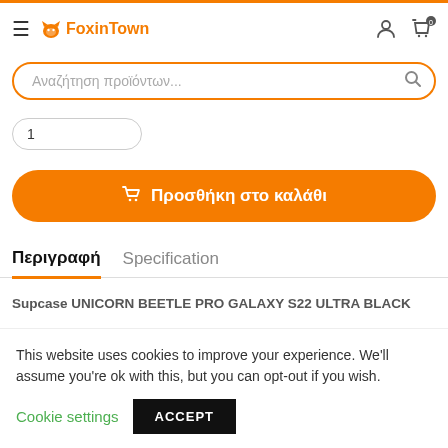FoxinTown
Αναζήτηση προϊόντων...
1
Προσθήκη στο καλάθι
Περιγραφή  Specification
Supcase UNICORN BEETLE PRO GALAXY S22 ULTRA BLACK
This website uses cookies to improve your experience. We'll assume you're ok with this, but you can opt-out if you wish. Cookie settings ACCEPT